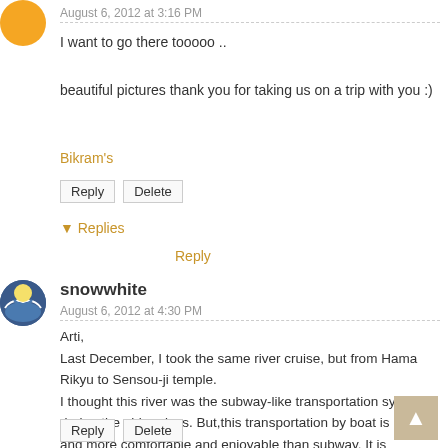August 6, 2012 at 3:16 PM
I want to go there tooooo ..
beautiful pictures thank you for taking us on a trip with you :)
Bikram's
Reply  Delete
▼ Replies
Reply
snowwhite
August 6, 2012 at 4:30 PM
Arti,
Last December, I took the same river cruise, but from Hama Rikyu to Sensou-ji temple.
I thought this river was the subway-like transportation system during the olden days. But,this transportation by boat is more and more comfortable and enjoyable than subway. It is wonderful to be slow.
Oh, I also love waving onlookers!! Lovely Lovely blog!
keiko
Reply  Delete